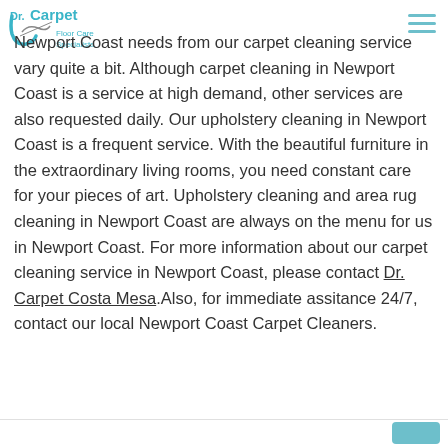[Figure (logo): Dr. Carpet Floor Care Specialists logo with teal/cyan color scheme]
Newport Coast needs from our carpet cleaning service vary quite a bit. Although carpet cleaning in Newport Coast is a service at high demand, other services are also requested daily. Our upholstery cleaning in Newport Coast is a frequent service. With the beautiful furniture in the extraordinary living rooms, you need constant care for your pieces of art. Upholstery cleaning and area rug cleaning in Newport Coast are always on the menu for us in Newport Coast. For more information about our carpet cleaning service in Newport Coast, please contact Dr. Carpet Costa Mesa.Also, for immediate assitance 24/7, contact our local Newport Coast Carpet Cleaners.